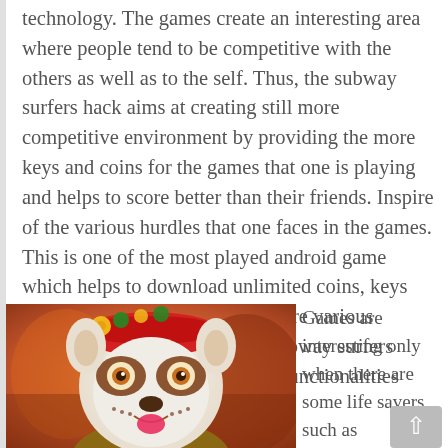technology. The games create an interesting area where people tend to be competitive with the others as well as to the self. Thus, the subway surfers hack aims at creating still more competitive environment by providing the more keys and coins for the games that one is playing and helps to score better than their friends. Inspire of the various hurdles that one faces in the games. This is one of the most played android game which helps to download unlimited coins, keys and unlocked characters. There are various versions that are available for subway surfers hack with variety of updates of functionalities from one version to the other.
[Figure (photo): A cartoon/game character with a dog face design (face paint or mask), wearing a red headband with flowers, white face with brown markings, sticking tongue out, in a colorful game art style]
Games are interesting only when there are some life savers such as increasing